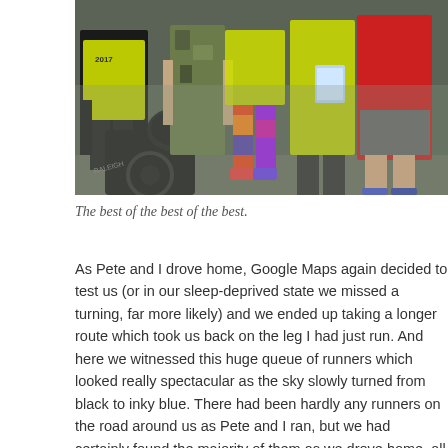[Figure (photo): A group of people standing together outdoors, some wearing high-visibility yellow vests with '2017' printed on them, others in colorful leggings and athletic wear. A bicycle (Raleigh brand) is visible in the foreground.]
The best of the best of the best.
As Pete and I drove home, Google Maps again decided to test us (or in our sleep-deprived state we missed a turning, far more likely) and we ended up taking a longer route which took us back on the leg I had just run. And here we witnessed this huge queue of runners which looked really spectacular as the sky slowly turned from black to inky blue. There had been hardly any runners on the road around us as Pete and I ran, but we had certainly found the majority of them as we drove home, all hurtling towards Wissington, the flashing lights from their support vehicles